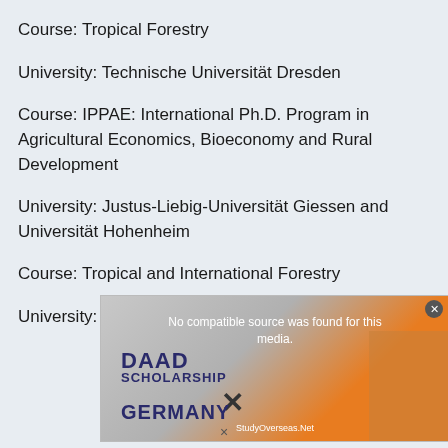Course: Tropical Forestry
University: Technische Universität Dresden
Course: IPPAE: International Ph.D. Program in Agricultural Economics, Bioeconomy and Rural Development
University: Justus-Liebig-Universität Giessen and Universität Hohenheim
Course: Tropical and International Forestry
University: Georg-August-Universität Göttingen
[Figure (screenshot): Advertisement overlay showing 'No compatible source was found for this media.' with DAAD Scholarship Germany branding from StudyOverseas.Net, with a close button and a person image.]
×